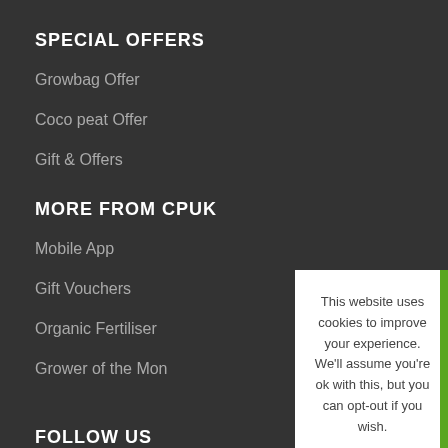SPECIAL OFFERS
Growbag Offer
Coco peat Offer
Gift & Offers
MORE FROM CPUK
Mobile App
Gift Vouchers
Organic Fertiliser
Grower of the Mon
This website uses cookies to improve your experience. We'll assume you're ok with this, but you can opt-out if you wish. Read More Got it
FOLLOW US